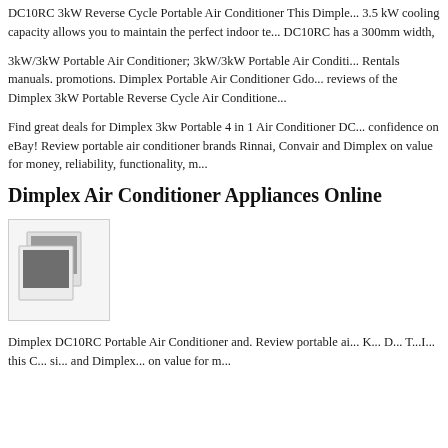DC10RC 3kW Reverse Cycle Portable Air Conditioner This Dimplex 3.5 kW cooling capacity allows you to maintain the perfect indoor te... DC10RC has a 300mm width,
3kW/3kW Portable Air Conditioner; 3kW/3kW Portable Air Conditioner Rentals manuals. promotions. Dimplex Portable Air Conditioner Gdo... reviews of the Dimplex 3kW Portable Reverse Cycle Air Conditioner
Find great deals for Dimplex 3kw Portable 4 in 1 Air Conditioner DC... confidence on eBay! Review portable air conditioner brands Rinnai, Convair and Dimplex on value for money, reliability, functionality, m...
Dimplex Air Conditioner Appliances Online
[Figure (photo): Placeholder image showing two overlapping photo thumbnails with a dark gray rectangle representing an image]
Dimplex DC10RC Portable Air Conditioner and. Review portable air... K... D... T...I... this C... si... and Dimplex... on value for m...